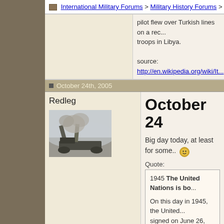International Military Forums > Military History Forums > General M...
pilot flew over Turkish lines on a rec... troops in Libya.

source: http://en.wikipedia.org/wiki/It...
October 24th, 2005
Redleg
[Figure (photo): A military artillery piece or rocket launcher firing in misty conditions]
October 24
Big day today, at least for some.. 🙂
Quote:
1945 The United Nations is bo...

On this day in 1945, the United... signed on June 26, 1945, is now...

The United Nations was born of... arbitrating international conflict... for by the old League of Nations... the real impetus for the United S... begin formulating the original U... January 1942, as a formal act o... the Axis Powers.